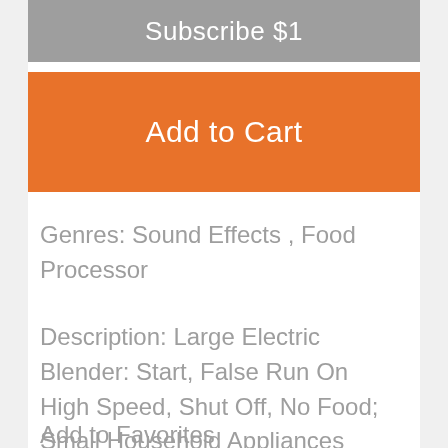Subscribe $1
Add to Cart
Genres: Sound Effects , Food Processor
Description: Large Electric Blender: Start, False Run On High Speed, Shut Off, No Food; Small Household Appliances
Add to Favorites